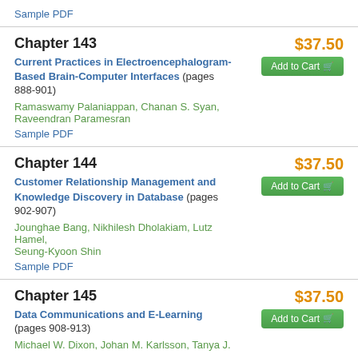Sample PDF
Chapter 143
$37.50
Current Practices in Electroencephalogram- Based Brain-Computer Interfaces (pages 888-901)
Add to Cart
Ramaswamy Palaniappan, Chanan S. Syan, Raveendran Paramesran
Sample PDF
Chapter 144
$37.50
Customer Relationship Management and Knowledge Discovery in Database (pages 902-907)
Add to Cart
Jounghae Bang, Nikhilesh Dholakiam, Lutz Hamel, Seung-Kyoon Shin
Sample PDF
Chapter 145
$37.50
Data Communications and E-Learning (pages 908-913)
Add to Cart
Michael W. Dixon, Johan M. Karlsson, Tanya J.